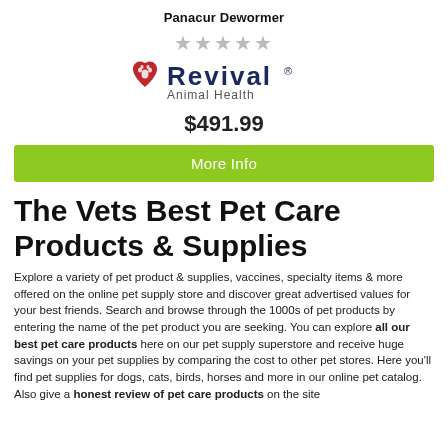Panacur Dewormer
[Figure (logo): Revival Animal Health logo with red heart and paw print icon]
$491.99
More Info
The Vets Best Pet Care Products & Supplies
Explore a variety of pet product & supplies, vaccines, specialty items & more offered on the online pet supply store and discover great advertised values for your best friends. Search and browse through the 1000s of pet products by entering the name of the pet product you are seeking. You can explore all our best pet care products here on our pet supply superstore and receive huge savings on your pet supplies by comparing the cost to other pet stores. Here you'll find pet supplies for dogs, cats, birds, horses and more in our online pet catalog. Also give a honest review of pet care products on the site